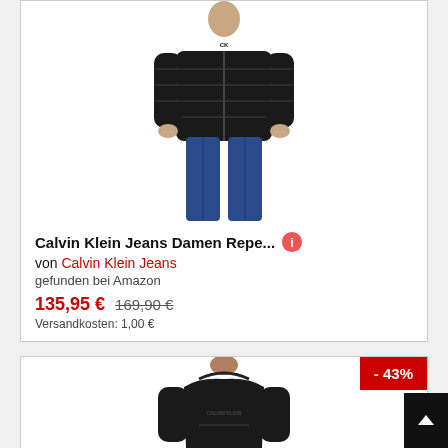[Figure (photo): Woman wearing a black Calvin Klein Jeans puffer jacket with blue jeans, shown from neck to knees]
Calvin Klein Jeans Damen Repe...
von Calvin Klein Jeans
gefunden bei Amazon
135,95 €  169,90 €
Versandkosten: 1,00 €
[Figure (photo): Person wearing a black hoodie sweatshirt, partial view showing upper torso]
- 43%